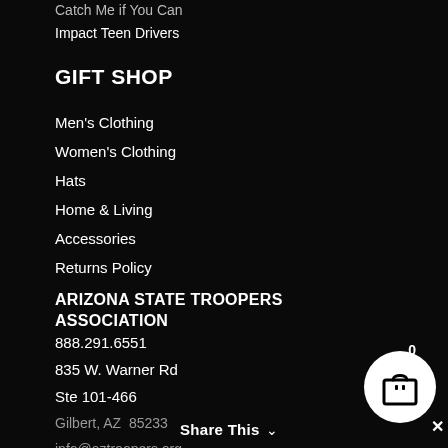Catch Me if You Can
Impact Teen Drivers
GIFT SHOP
Men's Clothing
Women's Clothing
Hats
Home & Living
Accessories
Returns Policy
ARIZONA STATE TROOPERS ASSOCIATION
888.291.6551
835 W. Warner Rd
Ste 101-466
Gilbert, AZ  85233
info@aztroopers.org
Share This ∨